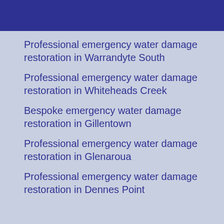Professional emergency water damage restoration in Warrandyte South
Professional emergency water damage restoration in Whiteheads Creek
Bespoke emergency water damage restoration in Gillentown
Professional emergency water damage restoration in Glenaroua
Professional emergency water damage restoration in Dennes Point